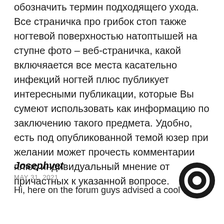обозначить термин подходящего ухода. Все страничка про грибок стоп также ногтевой поверхностью натоптышей на ступне фото – веб-страничка, какой включяается все места касательно инфекций ногтей плюс публикует интересными публикации, которые Вы сумеют использовать как информацию по заключению такого предмета. Удобно, есть под опубликованной темой юзер при желании может прочесть комментарии плюс индивидуальный мнение от причастных к указанной вопросе.
Josephvet
MAY 31, 2021
Hi, here on the forum guys advised a cool